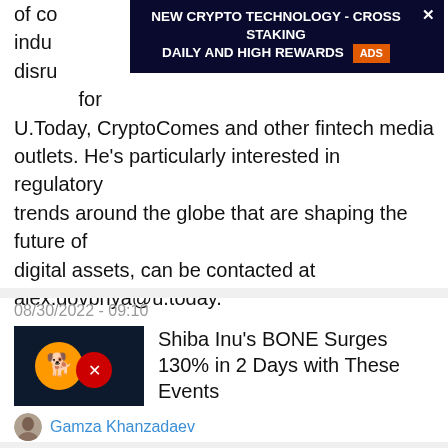of co… industry… disruption. He authored more than 1,000 stories for U.Today, CryptoComes and other fintech media outlets. He's particularly interested in regulatory trends around the globe that are shaping the future of digital assets, can be contacted at alex.dovbnya@u.today.
[Figure (other): Advertisement banner: NEW CRYPTO TECHNOLOGY - CROSS STAKING DAILY AND HIGH REWARDS with Ads badge and close button]
08/30/2022 - 09:10
[Figure (photo): Thumbnail image for article about Shiba Inu BONE token with Shiba Inu and token logos on dark background]
Shiba Inu's BONE Surges 130% in 2 Days with These Events
Gamza Khanzadaev
08/30/2022 - 08:34
[Figure (photo): Thumbnail image for article about Cardano Input Output with Stanford logo on dark background]
Cardano's Input Output Announces